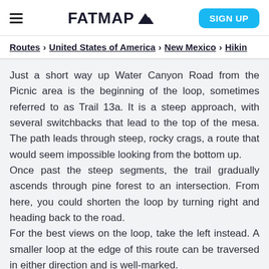FATMAP (logo) | SIGN UP
Routes > United States of America > New Mexico > Hikin
Just a short way up Water Canyon Road from the Picnic area is the beginning of the loop, sometimes referred to as Trail 13a. It is a steep approach, with several switchbacks that lead to the top of the mesa. The path leads through steep, rocky crags, a route that would seem impossible looking from the bottom up.
Once past the steep segments, the trail gradually ascends through pine forest to an intersection. From here, you could shorten the loop by turning right and heading back to the road.
For the best views on the loop, take the left instead. A smaller loop at the edge of this route can be traversed in either direction and is well-marked.